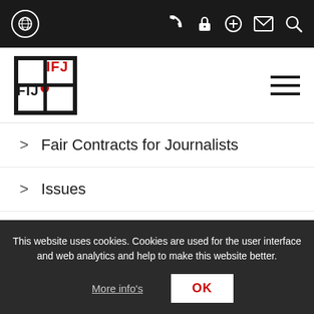IFJ website top navigation bar with globe icon and utility icons (phone, lock, plus, mail, search)
[Figure (logo): IFJ / FIJ logo - black and red text logo with letters IFJ stacked with FIJ mirrored, red dot accent]
Fair Contracts for Journalists
Issues
Regions
IFJ Safety
This website uses cookies. Cookies are used for the user interface and web analytics and help to make this website better.
More info's
OK